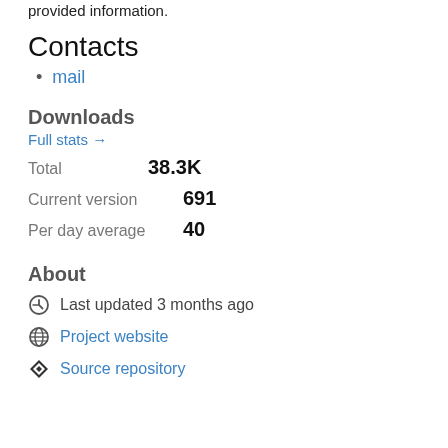provided information.
Contacts
mail
Downloads
Full stats →
Total   38.3K
Current version   691
Per day average   40
About
Last updated 3 months ago
Project website
Source repository